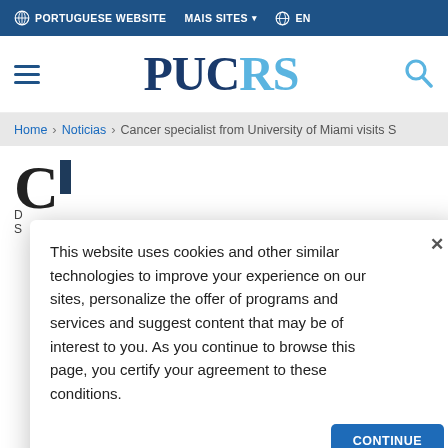PORTUGUESE WEBSITE   MAIS SITES   EN
[Figure (logo): PUCRS logo with hamburger menu and search icon]
Home > Noticias > Cancer specialist from University of Miami visits S
This website uses cookies and other similar technologies to improve your experience on our sites, personalize the offer of programs and services and suggest content that may be of interest to you. As you continue to browse this page, you certify your agreement to these conditions.